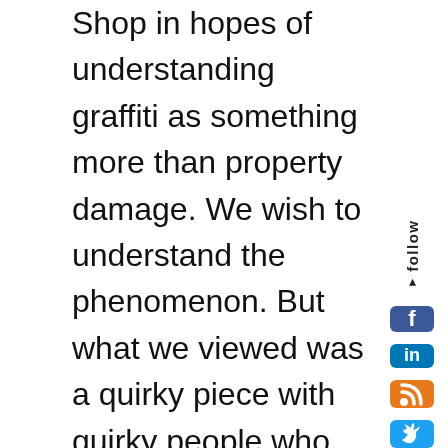Shop in hopes of understanding graffiti as something more than property damage. We wish to understand the phenomenon. But what we viewed was a quirky piece with quirky people who earn fabulous livings off their fame as bombers (graffiti artists.) They market their rebel images through art galleries and sell mass produced paraphernalia like t-shirts and coffee cups that display their famous tagger iconography.

What I saw in Exit Through the Gift Shop wasn't the graffiti scrawled in the Baltimore battle zones bordering the railways, nor the ragged and tortured art on the wall beneath the sullen Italian thunderheads. The stuff in Exit looked more, and seemed more, like a case of anarchist, populist, angry post-